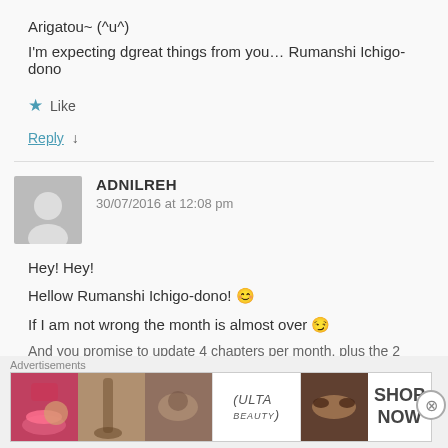Arigatou~ (^u^)
I'm expecting dgreat things from you… Rumanshi Ichigo-dono
★ Like
Reply ↓
ADNILREH
30/07/2016 at 12:08 pm
Hey! Hey!
Hellow Rumanshi Ichigo-dono! 😊
If I am not wrong the month is almost over 😏
And you promise to update 4 chapters per month, plus the 2
Advertisements
[Figure (photo): Ulta beauty advertisement banner with makeup images and SHOP NOW text]